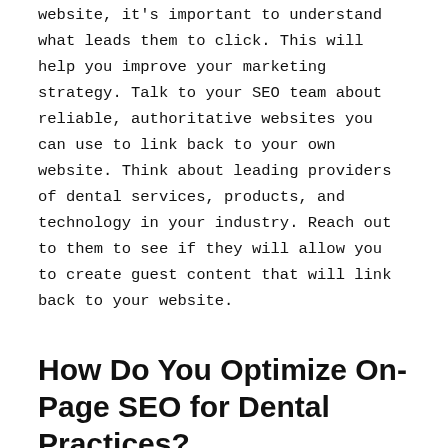website, it's important to understand what leads them to click. This will help you improve your marketing strategy. Talk to your SEO team about reliable, authoritative websites you can use to link back to your own website. Think about leading providers of dental services, products, and technology in your industry. Reach out to them to see if they will allow you to create guest content that will link back to your website.
How Do You Optimize On-Page SEO for Dental Practices?
One half of the overall SEO service is on-page SEO. This refers to the work you do on your website to enhance the user experience and meet the SEO standards set by the best search engines. On-page SEO includes: